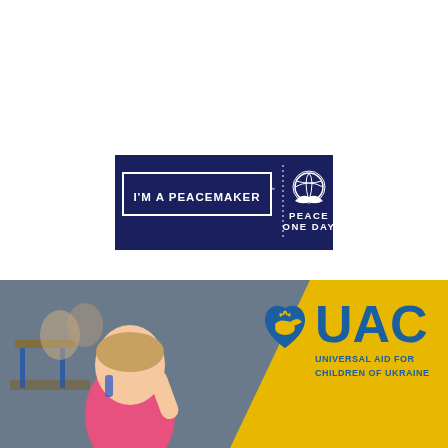[Figure (logo): I'm A Peacemaker banner with Peace One Day logo on dark navy background]
[Figure (photo): UAC Universal Aid for Children of Ukraine - photo of young girl with Down syndrome raising her hand in a classroom, with UAC heart-dove logo and text overlay on yellow background]